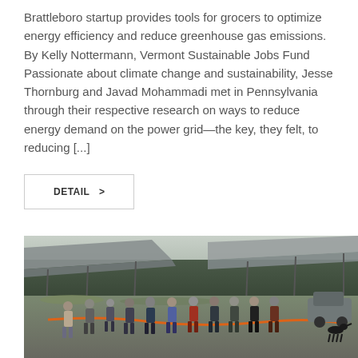Brattleboro startup provides tools for grocers to optimize energy efficiency and reduce greenhouse gas emissions. By Kelly Nottermann, Vermont Sustainable Jobs Fund Passionate about climate change and sustainability, Jesse Thornburg and Javad Mohammadi met in Pennsylvania through their respective research on ways to reduce energy demand on the power grid—the key, they felt, to reducing [...]
DETAIL >
[Figure (photo): Outdoor photo of a group of people standing in a line doing a ribbon-cutting ceremony at a solar panel installation site. Large solar panel arrays are visible in the background along with trees. A black dog is visible on the right side.]